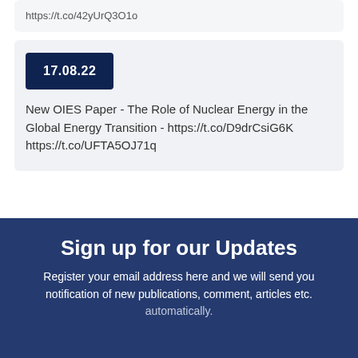https://t.co/42yUrQ3O1o
17.08.22
New OIES Paper - The Role of Nuclear Energy in the Global Energy Transition - https://t.co/D9drCsiG6K https://t.co/UFTA5OJ71q
Sign up for our Updates
Register your email address here and we will send you notification of new publications, comment, articles etc. automatically.